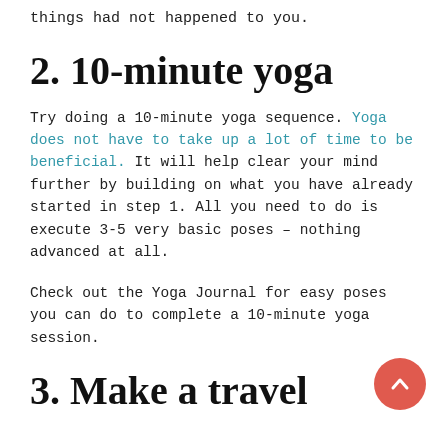things had not happened to you.
2. 10-minute yoga
Try doing a 10-minute yoga sequence. Yoga does not have to take up a lot of time to be beneficial. It will help clear your mind further by building on what you have already started in step 1. All you need to do is execute 3-5 very basic poses – nothing advanced at all.
Check out the Yoga Journal for easy poses you can do to complete a 10-minute yoga session.
3. Make a travel